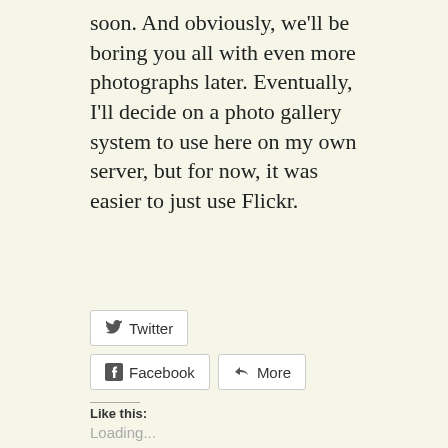soon. And obviously, we'll be boring you all with even more photographs later. Eventually, I'll decide on a photo gallery system to use here on my own server, but for now, it was easier to just use Flickr.
[Figure (other): Share buttons: Twitter button, Facebook button, and More button]
Like this:
Loading...